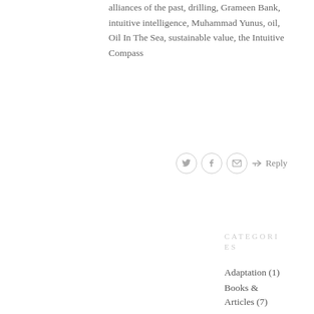alliances of the past, drilling, Grameen Bank, intuitive intelligence, Muhammad Yunus, oil, Oil In The Sea, sustainable value, the Intuitive Compass
↪ Reply
CATEGORIES
Adaptation (1)
Books & Articles (7)
Branding (11)
Business Value (23)
Change Management (4)